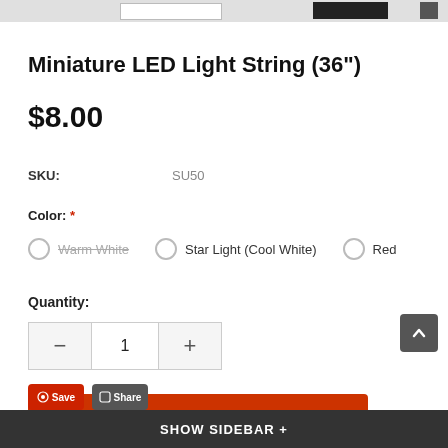Miniature LED Light String (36")
$8.00
SKU: SU50
Color: * Warm White  Star Light (Cool White)  Red
Quantity:
ADD TO CART
Add To Wishlist
SHOW SIDEBAR +